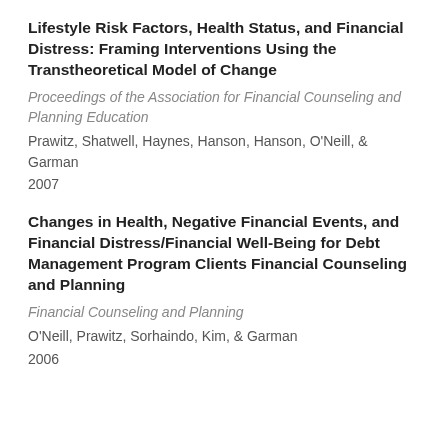Lifestyle Risk Factors, Health Status, and Financial Distress: Framing Interventions Using the Transtheoretical Model of Change
Proceedings of the Association for Financial Counseling and Planning Education
Prawitz, Shatwell, Haynes, Hanson, Hanson, O'Neill, & Garman
2007
Changes in Health, Negative Financial Events, and Financial Distress/Financial Well-Being for Debt Management Program Clients Financial Counseling and Planning
Financial Counseling and Planning
O'Neill, Prawitz, Sorhaindo, Kim, & Garman
2006